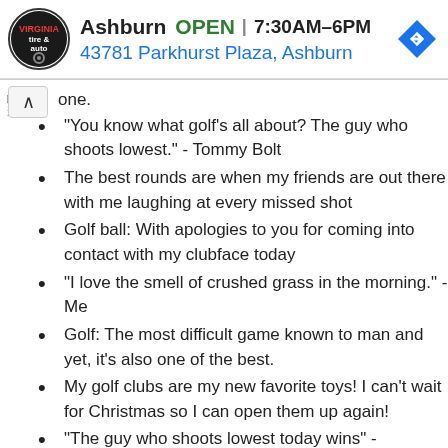[Figure (screenshot): Advertisement banner for Ashburn tire & auto service showing logo, OPEN status, hours 7:30AM-6PM, address 43781 Parkhurst Plaza Ashburn, and a blue navigation arrow icon]
one.
"You know what golf's all about? The guy who shoots lowest." - Tommy Bolt
The best rounds are when my friends are out there with me laughing at every missed shot
Golf ball: With apologies to you for coming into contact with my clubface today
"I love the smell of crushed grass in the morning." - Me
Golf: The most difficult game known to man and yet, it's also one of the best.
My golf clubs are my new favorite toys! I can't wait for Christmas so I can open them up again!
"The guy who shoots lowest today wins" -